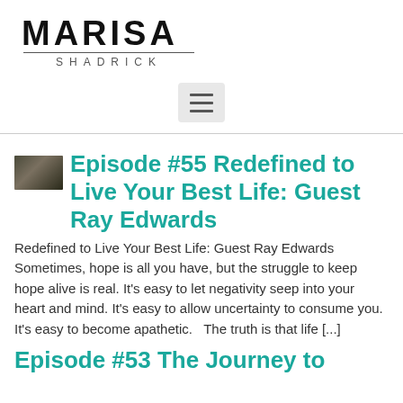MARISA SHADRICK
[Figure (other): Hamburger menu icon with three horizontal lines on a light gray rounded rectangle background]
Episode #55 Redefined to Live Your Best Life: Guest Ray Edwards
Redefined to Live Your Best Life: Guest Ray Edwards Sometimes, hope is all you have, but the struggle to keep hope alive is real. It's easy to let negativity seep into your heart and mind. It's easy to allow uncertainty to consume you. It's easy to become apathetic.   The truth is that life [...]
Episode #53 The Journey to